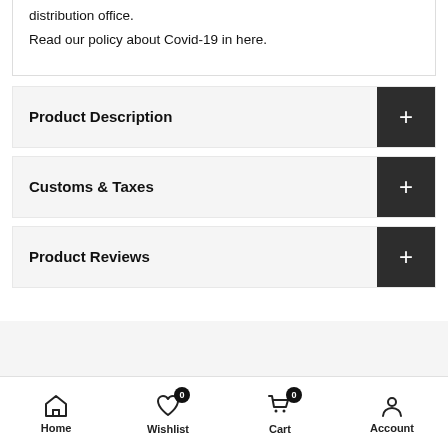distribution office.
Read our policy about Covid-19 in here.
Product Description
Customs & Taxes
Product Reviews
Home | Wishlist 0 | Cart 0 | Account